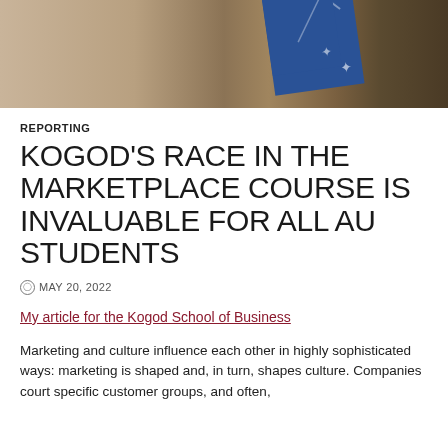[Figure (photo): Top portion of a photo showing a wooden surface with a blue book/notebook placed on it, partially visible at the top of the page.]
REPORTING
KOGOD'S RACE IN THE MARKETPLACE COURSE IS INVALUABLE FOR ALL AU STUDENTS
MAY 20, 2022
My article for the Kogod School of Business
Marketing and culture influence each other in highly sophisticated ways: marketing is shaped and, in turn, shapes culture. Companies court specific customer groups, and often,